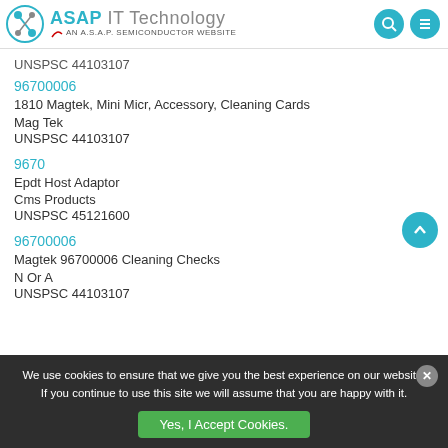ASAP IT Technology — AN A.S.A.P. SEMICONDUCTOR WEBSITE
UNSPSC 44103107
96700006
1810 Magtek, Mini Micr, Accessory, Cleaning Cards
Mag Tek
UNSPSC 44103107
9670
Epdt Host Adaptor
Cms Products
UNSPSC 45121600
96700006
Magtek 96700006 Cleaning Checks
N Or A
UNSPSC 44103107
We use cookies to ensure that we give you the best experience on our website. If you continue to use this site we will assume that you are happy with it.
Yes, I Accept Cookies.